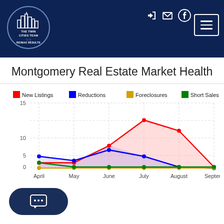THE TWIN CITIES TEAM RE/MAX RESULTS
Montgomery Real Estate Market Health
[Figure (line-chart): Montgomery Real Estate Market Health]